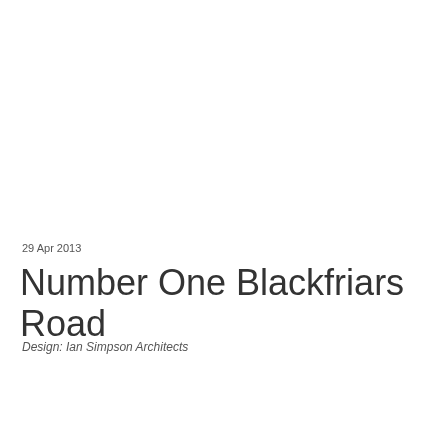29 Apr 2013
Number One Blackfriars Road
Design: Ian Simpson Architects